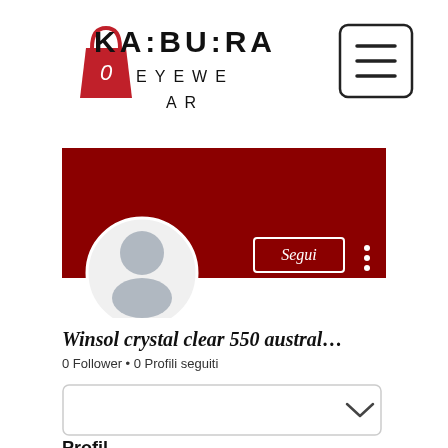[Figure (logo): KA:BU:RA EYEWEAR logo with shopping bag icon and hamburger menu button]
[Figure (screenshot): User profile banner in dark red/crimson color with a grey silhouette avatar, a 'Segui' (Follow) button outlined in white, and a vertical dots menu icon]
Winsol crystal clear 550 austral...
0 Follower • 0 Profili seguiti
[Figure (screenshot): A white rounded rectangle box with a chevron/down arrow icon on the right side]
Profil...